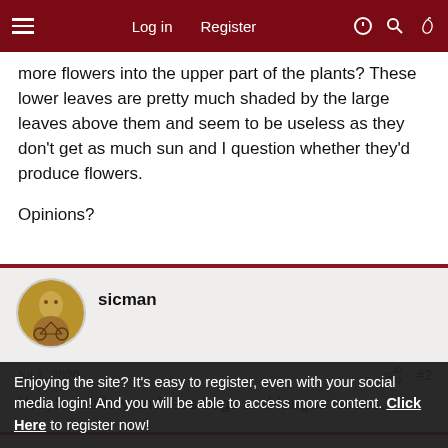Log in  Register
more flowers into the upper part of the plants? These lower leaves are pretty much shaded by the large leaves above them and seem to be useless as they don't get as much sun and I question whether they'd produce flowers.
Opinions?
sicman
Jul 1, 2020  #2
Yes, for airflow and less bugs and fungus issues.
Enjoying the site? It's easy to register, even with your social media login! And you will be able to access more content. Click Here to register now!